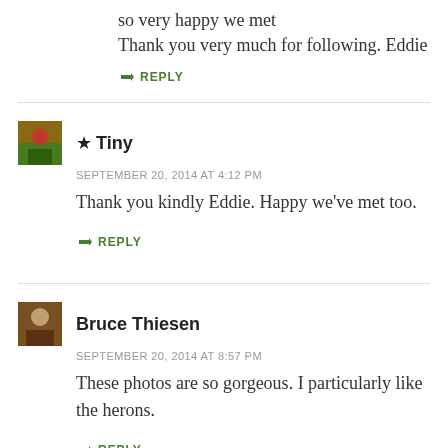so very happy we met
Thank you very much for following. Eddie
↳ REPLY
★ Tiny
SEPTEMBER 20, 2014 AT 4:12 PM
Thank you kindly Eddie. Happy we've met too.
↳ REPLY
Bruce Thiesen
SEPTEMBER 20, 2014 AT 8:57 PM
These photos are so gorgeous. I particularly like the herons.
↳ REPLY